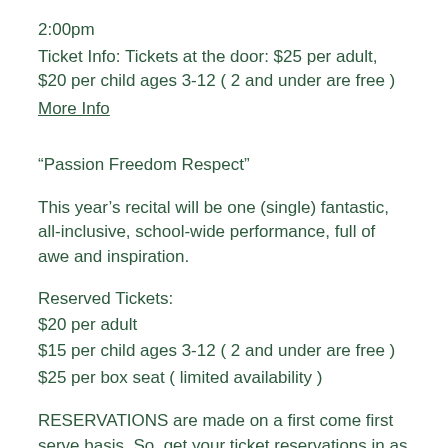2:00pm
Ticket Info: Tickets at the door: $25 per adult, $20 per child ages 3-12 ( 2 and under are free )
More Info
“Passion Freedom Respect”
This year’s recital will be one (single) fantastic, all-inclusive, school-wide performance, full of awe and inspiration.
Reserved Tickets:
$20 per adult
$15 per child ages 3-12 ( 2 and under are free )
$25 per box seat ( limited availability )
RESERVATIONS are made on a first come first serve basis. So, get your ticket reservations in as soon as